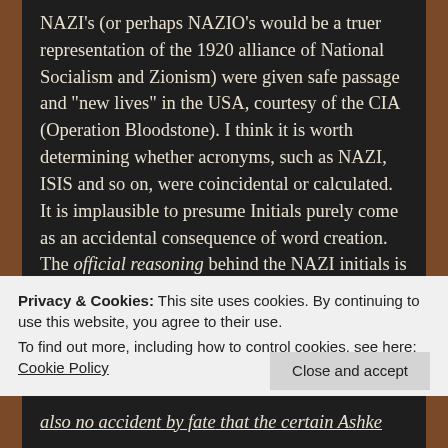NAZI's (or perhaps NAZIO's would be a truer representation of the 1920 alliance of National Socialism and Zionism) were given safe passage and "new lives" in the USA, courtesy of the CIA (Operation Bloodstone). I think it is worth determining whether acronyms, such as NAZI, ISIS and so on, were coincidental or calculated. It is implausible to presume Initials purely come as an accidental consequence of word creation. The official reasoning behind the NAZI initials is gibberish and even attestation to forces governing stigmas is less than plausible (i.e. strategic critics), emphasized by the fact that it was after Hitler's 1933 rise to power
Privacy & Cookies: This site uses cookies. By continuing to use this website, you agree to their use.
To find out more, including how to control cookies, see here: Cookie Policy
Close and accept
also no accident by fate that the certain Ashke